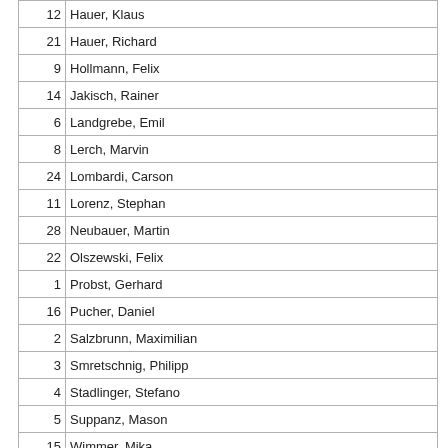| # | Name |
| --- | --- |
| 12 | Hauer, Klaus |
| 21 | Hauer, Richard |
| 9 | Hollmann, Felix |
| 14 | Jakisch, Rainer |
| 6 | Landgrebe, Emil |
| 8 | Lerch, Marvin |
| 24 | Lombardi, Carson |
| 11 | Lorenz, Stephan |
| 28 | Neubauer, Martin |
| 22 | Olszewski, Felix |
| 1 | Probst, Gerhard |
| 16 | Pucher, Daniel |
| 2 | Salzbrunn, Maximilian |
| 3 | Smretschnig, Philipp |
| 4 | Stadlinger, Stefano |
| 5 | Suppanz, Mason |
| 15 | Wimmer, Mika |
|  | Summary |
Officials
| Role | Name | Title |
| --- | --- | --- |
| Head Referee | Flew, Nick | Referee 1 |
| CBO | Keizer, Sven | Referee 2 |